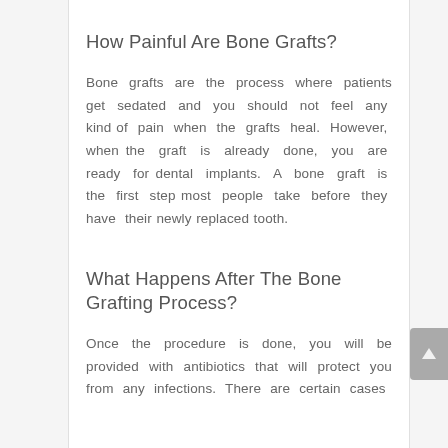How Painful Are Bone Grafts?
Bone grafts are the process where patients get sedated and you should not feel any kind of pain when the grafts heal. However, when the graft is already done, you are ready for dental implants. A bone graft is the first step most people take before they have their newly replaced tooth.
What Happens After The Bone Grafting Process?
Once the procedure is done, you will be provided with antibiotics that will protect you from any infections. There are certain cases